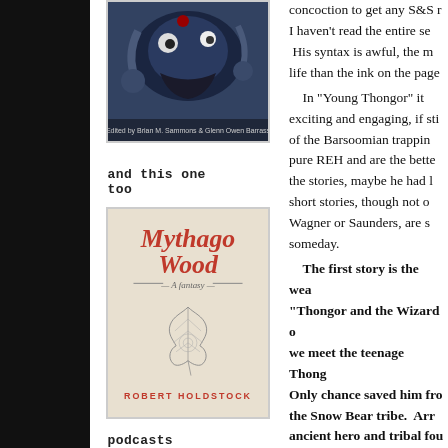[Figure (illustration): Fantasy book cover with creature/monster art, edited by Brian M. Sammons & Glenn Owen Barrass]
AND THIS ONE TOO
[Figure (illustration): Book cover for Mythago Wood: A Fantasy by Robert Holdstock, with red stylized title text and leaf/oak illustration on cream background]
PODCASTS
concoction to get any S&S r... I haven't read the entire se... His syntax is awful, the m... life than the ink on the page... In "Young Thongor" it ... exciting and engaging, if sti... of the Barsoomian trappin... pure REH and are the bette... the stories, maybe he had l... short stories, though not o... Wagner or Saunders, are s... someday. The first story is the wea... "Thongor and the Wizard o... we meet the teenage Thong... Only chance saved him fro... the Snow Bear tribe. Arr... ancient hero and tribal fou... the hand of his dead chi... countryside seeking bloody...